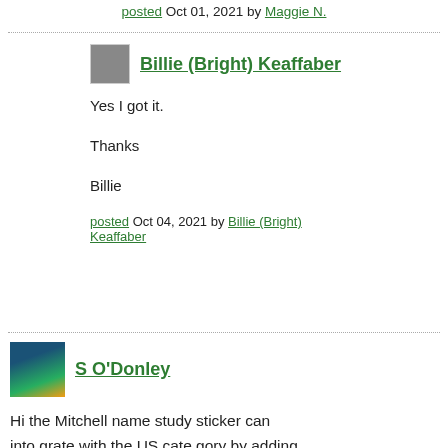posted Oct 01, 2021 by Maggie N.
Billie (Bright) Keaffaber
Yes I got it.

Thanks

Billie
posted Oct 04, 2021 by Billie (Bright) Keaffaber
S O'Donley
Hi the Mitchell name study sticker can into grate with the US cate gory by adding